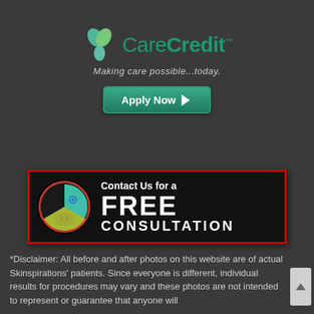[Figure (logo): CareCredit logo with leaf icon and tagline 'Making care possible...today.' with green Apply Now button]
[Figure (infographic): Black banner with red border featuring circular colorful logo and text 'Contact Us for a FREE CONSULTATION']
*Disclaimer: All before and after photos on this website are of actual Skinspirations' patients. Since everyone is different, individual results for procedures may vary and these photos are not intended to represent or guarantee that anyone will